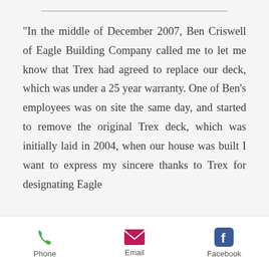"In the middle of December 2007, Ben Criswell of Eagle Building Company called me to let me know that Trex had agreed to replace our deck, which was under a 25 year warranty. One of Ben's employees was on site the same day, and started to remove the original Trex deck, which was initially laid in 2004, when our house was built I want to express my sincere thanks to Trex for designating Eagle
Phone  Email  Facebook